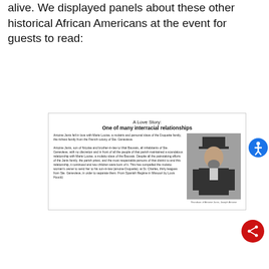alive. We displayed panels about these other historical African Americans at the event for guests to read:
[Figure (photo): A panel titled 'A Love Story: One of many interracial relationships' showing text describing Antoine Janis and Marie Louise, with a black and white portrait photograph of a man wearing a top hat. Caption reads: Grandson of Antoine Janis, Joseph Antoine.]